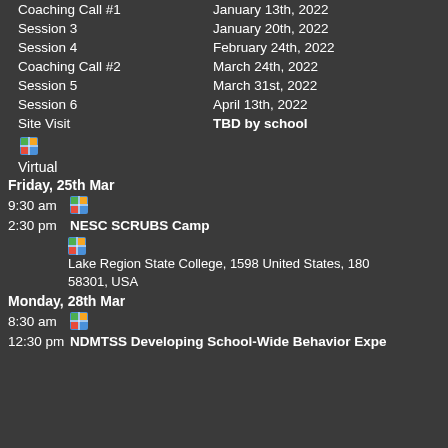Coaching Call #1    January 13th, 2022
Session 3    January 20th, 2022
Session 4    February 24th, 2022
Coaching Call #2    March 24th, 2022
Session 5    March 31st, 2022
Session 6    April 13th, 2022
Site Visit    TBD by school
Virtual
Friday, 25th Mar
9:30 am
2:30 pm  NESC SCRUBS Camp
Lake Region State College, 1598 United States, 180 58301, USA
Monday, 28th Mar
8:30 am
12:30 pm NDMTSS Developing School-Wide Behavior Expe